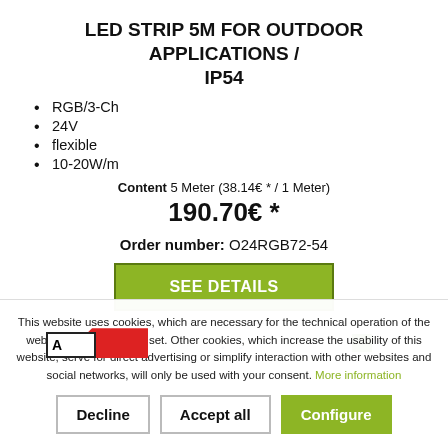LED STRIP 5M FOR OUTDOOR APPLICATIONS / IP54
RGB/3-Ch
24V
flexible
10-20W/m
Content 5 Meter (38.14€ * / 1 Meter)
190.70€ *
Order number: O24RGB72-54
[Figure (screenshot): SEE DETAILS button (green/olive background, white uppercase text, dark border)]
[Figure (screenshot): Partial product listing preview row with letter A label, red banner shape, blue icon, and green square element]
This website uses cookies, which are necessary for the technical operation of the website and are always set. Other cookies, which increase the usability of this website, serve for direct advertising or simplify interaction with other websites and social networks, will only be used with your consent. More information
Decline  Accept all  Configure